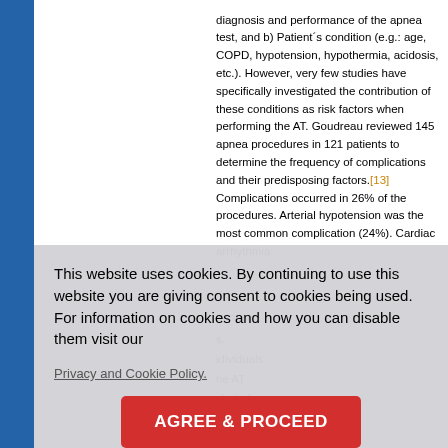diagnosis and performance of the apnea test, and b) Patient´s condition (e.g.: age, COPD, hypotension, hypothermia, acidosis, etc.). However, very few studies have specifically investigated the contribution of these conditions as risk factors when performing the AT. Goudreau reviewed 145 apnea procedures in 121 patients to determine the frequency of complications and their predisposing factors.[13] Complications occurred in 26% of the procedures. Arterial hypotension was the most common complication (24%). Cardiac arrhythmia [partial — overlaid by cookie banner] ...e most ...s. ...idividuals ...he AT ...cluded ...e ...idelines. ...ng the ...frequent ...and arterial hypotension. Patients with pH < 7.3, pO2
This website uses cookies. By continuing to use this website you are giving consent to cookies being used. For information on cookies and how you can disable them visit our Privacy and Cookie Policy. AGREE & PROCEED